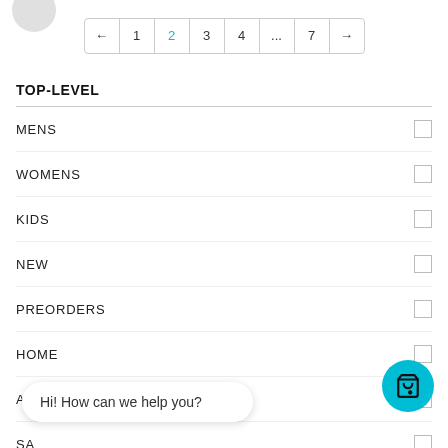[Figure (other): Pagination control showing pages: ← 1 2(active) 3 4 ... 7 →]
TOP-LEVEL
MENS
WOMENS
KIDS
NEW
PREORDERS
HOME
ANIMAL
SA
Hi! How can we help you?